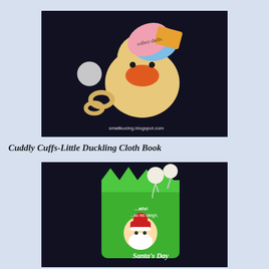[Figure (photo): A plush toy duckling with a small cloth book attached, showing colorful pages including text 'collect shells'. A retail tag is visible. Watermark: smallkucing.blogspot.com]
Cuddly Cuffs-Little Duckling Cloth Book
[Figure (photo): A green cloth book/toy featuring 'Santa's Day' text and a Santa Claus illustration, with text snippets '...alls!', '...as his sleigh,', '...the hat...'. A retail tag is visible.]